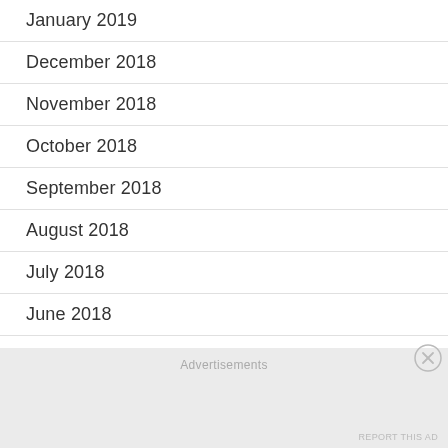January 2019
December 2018
November 2018
October 2018
September 2018
August 2018
July 2018
June 2018
Advertisements